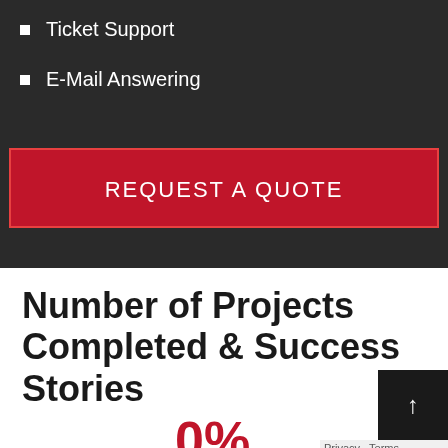Ticket Support
E-Mail Answering
REQUEST A QUOTE
Number of Projects Completed & Success Stories
0%